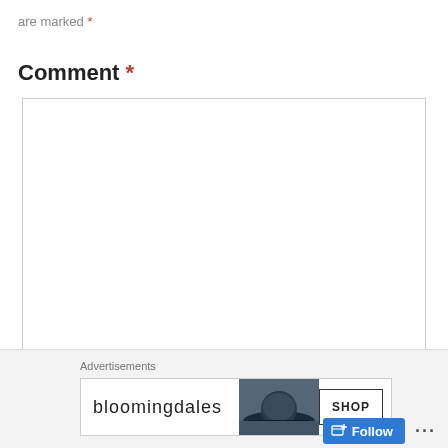are marked *
Comment *
[Figure (screenshot): Empty comment textarea input box with resize handle in bottom right corner]
Name *
[Figure (screenshot): Close (X) circular button]
Advertisements
[Figure (screenshot): Bloomingdale's advertisement banner with logo, fashion photo of woman in hat, and SHOP button]
[Figure (screenshot): Follow button with icon and ellipsis menu dots]